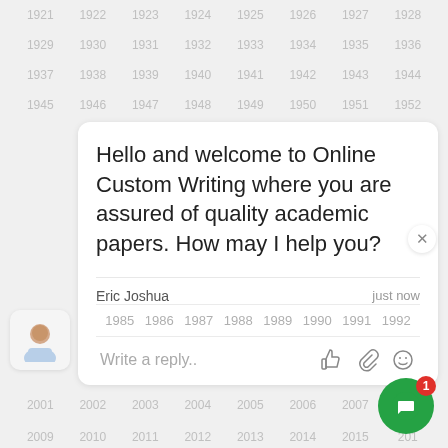1921 1922 1923 1924 1925 1926 1927 1928
1929 1930 1931 1932 1933 1934 1935 1936
1937 1938 1939 1940 1941 1942 1943 1944
1945 1946 1947 1948 1949 1950 1951 1952
[Figure (screenshot): Chat widget card with welcome message from Online Custom Writing, agent Eric Joshua, reply input, year selectors, and a green chat button with badge 1]
Hello and welcome to Online Custom Writing where you are assured of quality academic papers. How may I help you?
Eric Joshua   just now
1985 1986 1987 1988 1989 1990 1991 1992
Write a reply..
2001 2002 2003 2004 2005 2006 2007 2008
2009 2010 2011 2012 2013 2014 2015 2016
2017 2018 2019 2020 2021 2022 2023 2024